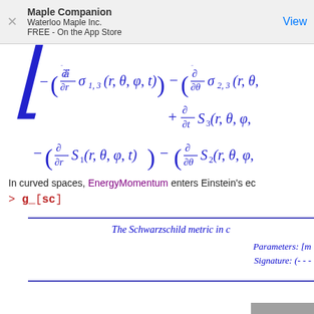Maple Companion
Waterloo Maple Inc.
FREE - On the App Store
In curved spaces, EnergyMomentum enters Einstein's ec
The Schwarzschild metric in c
Parameters: [m
Signature: (- - -